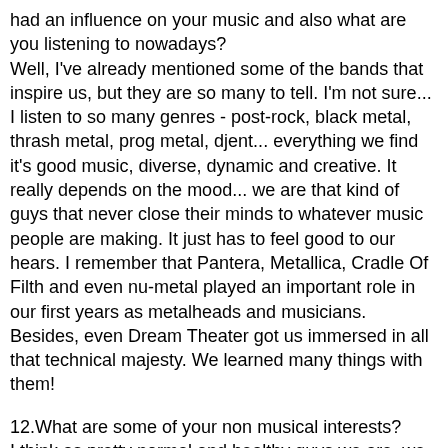had an influence on your music and also what are you listening to nowadays?
Well, I've already mentioned some of the bands that inspire us, but they are so many to tell. I'm not sure... I listen to so many genres - post-rock, black metal, thrash metal, prog metal, djent... everything we find it's good music, diverse, dynamic and creative. It really depends on the mood... we are that kind of guys that never close their minds to whatever music people are making. It just has to feel good to our hears. I remember that Pantera, Metallica, Cradle Of Filth and even nu-metal played an important role in our first years as metalheads and musicians. Besides, even Dream Theater got us immersed in all that technical majesty. We learned many things with them!
12.What are some of your non musical interests?
I think as pretty normal and healthy guys we are, we love to hang out with friends, be nonsense, laugh, play videogames (yeah, not only children do that), watch soccer, have a walk in our beautiful islands, dive... Well, I'm not sure if I disappointed you, but this is what we do when not playing... and working of course! I forgot to say that the three of us